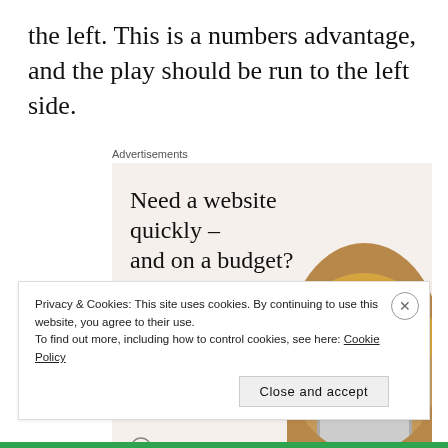the left. This is a numbers advantage, and the play should be run to the left side.
[Figure (infographic): Advertisement banner: 'Need a website quickly – and on a budget? Let us build it for you' with a 'Let's get started' button and a photo of hands typing on a laptop.]
Privacy & Cookies: This site uses cookies. By continuing to use this website, you agree to their use. To find out more, including how to control cookies, see here: Cookie Policy